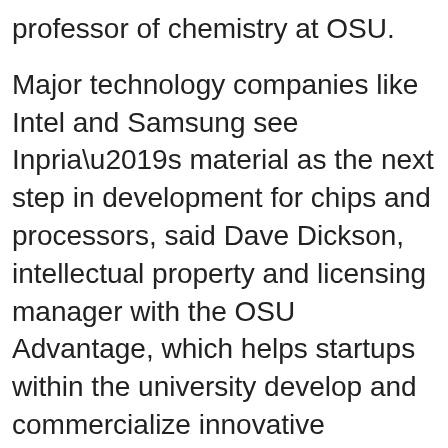professor of chemistry at OSU.
Major technology companies like Intel and Samsung see Inpria’s material as the next step in development for chips and processors, said Dave Dickson, intellectual property and licensing manager with the OSU Advantage, which helps startups within the university develop and commercialize innovative technology.
“That’s where it’s going, so the next time you buy a Samsung smartphone, maybe it’ll have a chip or a processor in it enabled by this lithography technology,” he said.
Inpria’s management says the infrastructure and support from OSU’s Research Office as well as the